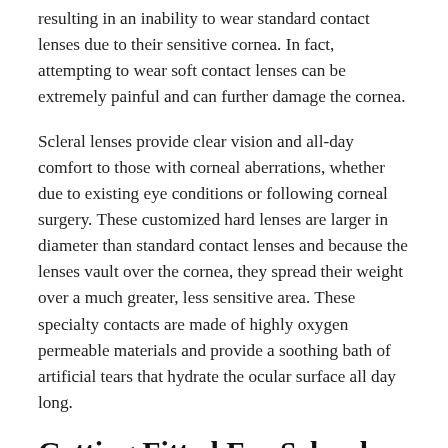resulting in an inability to wear standard contact lenses due to their sensitive cornea. In fact, attempting to wear soft contact lenses can be extremely painful and can further damage the cornea.
Scleral lenses provide clear vision and all-day comfort to those with corneal aberrations, whether due to existing eye conditions or following corneal surgery. These customized hard lenses are larger in diameter than standard contact lenses and because the lenses vault over the cornea, they spread their weight over a much greater, less sensitive area. These specialty contacts are made of highly oxygen permeable materials and provide a soothing bath of artificial tears that hydrate the ocular surface all day long.
Getting Fitted For Scleral Lenses
Once you have been properly fitted for scleral lenses, you can expect to see significant improvements in clarity, color and